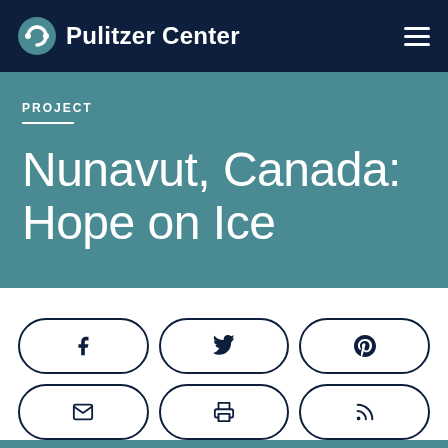Pulitzer Center
PROJECT
Nunavut, Canada: Hope on Ice
[Figure (screenshot): Social sharing buttons row 1: Facebook, Twitter, Pinterest icons in pill-shaped borders]
[Figure (screenshot): Social sharing buttons row 2: Email, Print, RSS icons in pill-shaped borders]